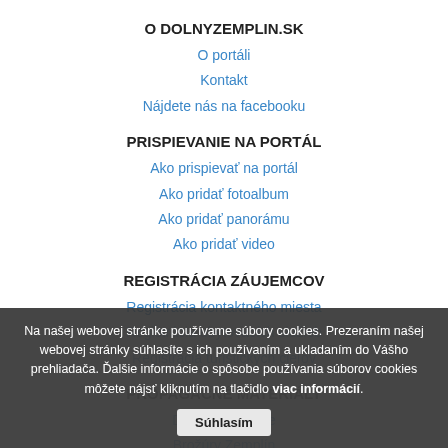O DOLNYZEMPLIN.SK
O portáli
Kontakt
Nájdete nás na facebooku
PRISPIEVANIE NA PORTÁL
Ako prispievať na portál
Ako pridať fotoalbum
Ako pridať panorámu
Ako pridať video
REGISTRÁCIA ZÁUJEMCOV
Registrácia kontaktného miesta
Registrácia ubytovacích služieb
Registrácia turistických cieľov
PROPAGAČNÉ MATERIÁLY
DVD Michalovce
Brožúry Zemplín
Multimediálni sprievodcovia
Na našej webovej stránke používame súbory cookies. Prezeraním našej webovej stránky súhlasíte s ich používaním a ukladaním do Vášho prehliadača. Ďalšie informácie o spôsobe používania súborov cookies môžete nájsť kliknutím na tlačidlo viac informácií.